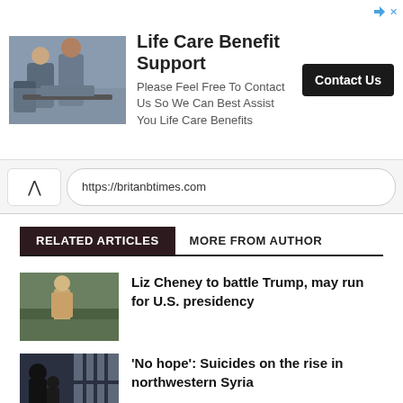[Figure (infographic): Advertisement banner for Life Care Benefit Support with photo of people, company name, description text, and Contact Us button]
https://britanbtimes.com
RELATED ARTICLES | MORE FROM AUTHOR
[Figure (photo): Photo of a woman standing in a field, related to Liz Cheney article]
Liz Cheney to battle Trump, may run for U.S. presidency
[Figure (photo): Photo of silhouette of people looking through barred window, related to Syria suicides article]
'No hope': Suicides on the rise in northwestern Syria
[Figure (photo): Photo related to Romania drugs article]
Romania declares war on drugs after